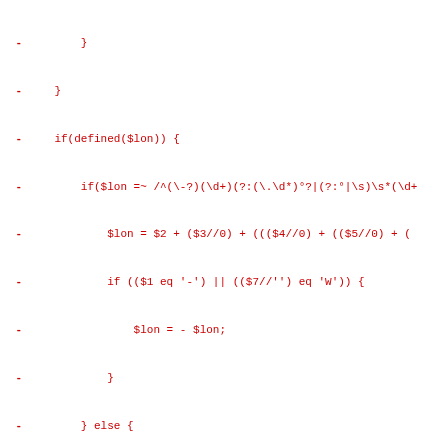diff code block showing removed (-) and added (+) lines of Perl-like code for coordinate parsing